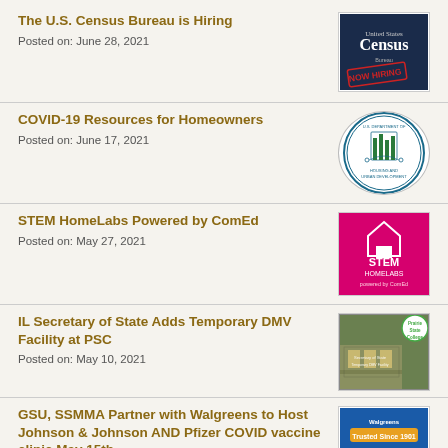The U.S. Census Bureau is Hiring
Posted on: June 28, 2021
[Figure (logo): United States Census Bureau NOW HIRING logo on dark navy background]
COVID-19 Resources for Homeowners
Posted on: June 17, 2021
[Figure (logo): U.S. Department of Housing and Urban Development circular seal logo]
STEM HomeLabs Powered by ComEd
Posted on: May 27, 2021
[Figure (logo): STEM HomeLabs Powered by ComEd logo on pink/magenta background]
IL Secretary of State Adds Temporary DMV Facility at PSC
Posted on: May 10, 2021
[Figure (photo): Photo of Prairie State College campus with Prairie State College logo overlay]
GSU, SSMMA Partner with Walgreens to Host Johnson & Johnson AND Pfizer COVID vaccine clinic May 15th
Posted on: May 10, 2021
[Figure (logo): Pfizer logo with blue background and Walgreens branding above]